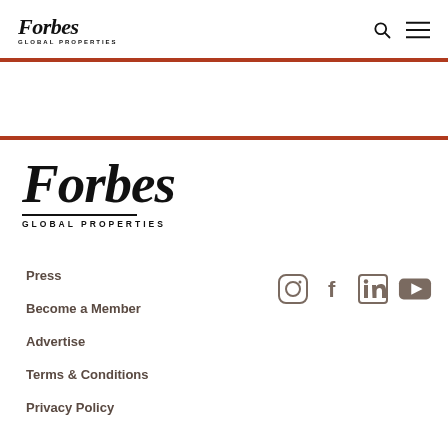Forbes Global Properties — header with search and menu icons
[Figure (logo): Forbes Global Properties large footer logo]
Press
Become a Member
Advertise
Terms & Conditions
Privacy Policy
[Figure (other): Social media icons: Instagram, Facebook, LinkedIn, YouTube]